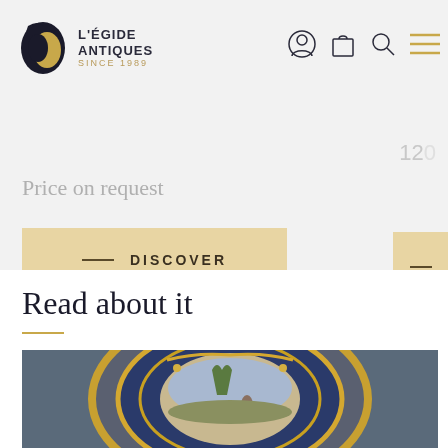L'ÉGIDE ANTIQUES SINCE 1989
Price on request
— DISCOVER
Read about it
[Figure (photo): Close-up photograph of an ornate antique decorative plate with blue background, gold baroque frame border, and a central painted pastoral scene featuring a figure among trees.]